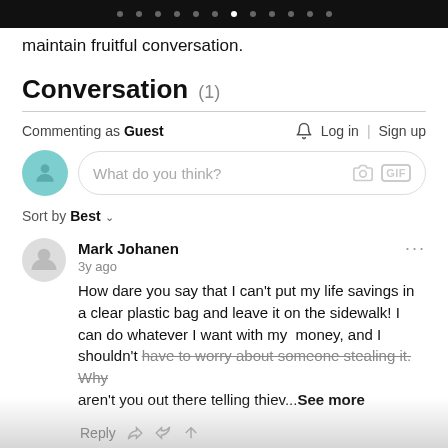pagination dots
maintain fruitful conversation.
Conversation (1)
Commenting as Guest
Log in | Sign up
What do you think?
Sort by Best
Mark Johanen
3y ago
How dare you say that I can't put my life savings in a clear plastic bag and leave it on the sidewalk! I can do whatever I want with my money, and I shouldn't have to worry about someone stealing it. Why aren't you out there telling thiev...See more